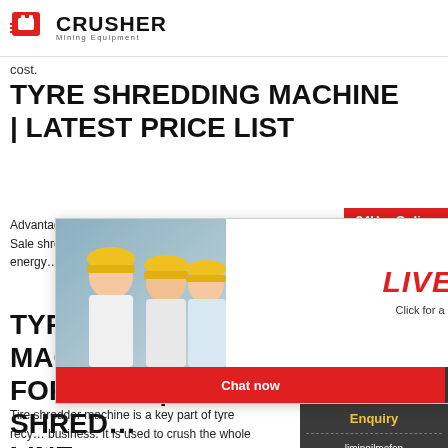CRUSHER Mining Equipment
cost.
TYRE SHREDDING MACHINE | LATEST PRICE LIST
Advantages of Tyre Shredding Machine for Sale shredder ma... durable, cra... low energy ... for sale is co... structure. D...
[Figure (photo): Live Chat overlay with workers in hard hats on left, LIVE CHAT title in red, Click for a Free Consultation text, Chat now and Chat later buttons, and a female customer service agent with headset on right]
TYRE SHREDDER MACHINE FOR SALE | TIRE SHREDDING LINE
Tire shredder machine is a key part of tyre recycling business. It is used to crush the whole tires into ...